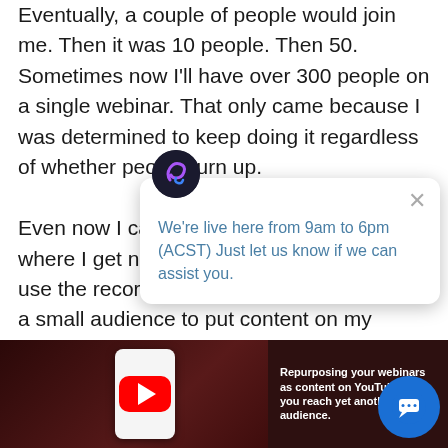Eventually, a couple of people would join me. Then it was 10 people. Then 50. Sometimes now I'll have over 300 people on a single webinar. That only came because I was determined to keep doing it regardless of whether people turn up.
Even now I can sometimes have a webinar where I get no one to show up. So I now use the recording of those webinars that get a small audience to put content on my YouTube channel, IGTV, DTube, Facebo...
[Figure (screenshot): Screenshot showing a phone displaying a YouTube video (with red play button), overlapping with a dark red panel that reads 'Repurposing your webinars as content on YouTube helps you reach yet another audience.']
[Figure (screenshot): Chat popup widget with a circular dark icon featuring a stylized letter, an X close button, and the text 'We're live here from 9am to 6pm (ACST) Just let us know if we can assist you.' A blue chat FAB button appears at bottom right.]